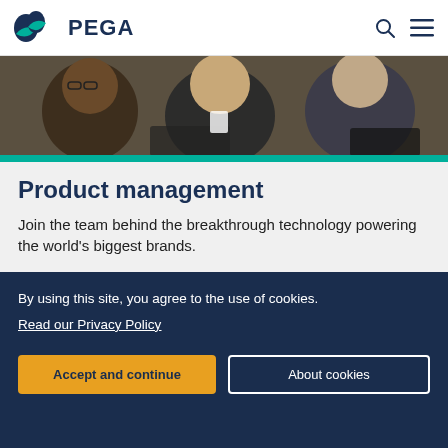PEGA
[Figure (photo): Photo of people working at laptops in a conference or workshop setting, with a teal accent bar at the bottom.]
Product management
Join the team behind the breakthrough technology powering the world's biggest brands.
Learn more >
[Figure (photo): Group photo of people outdoors near a waterfront on a sunny day.]
By using this site, you agree to the use of cookies.
Read our Privacy Policy
Accept and continue
About cookies